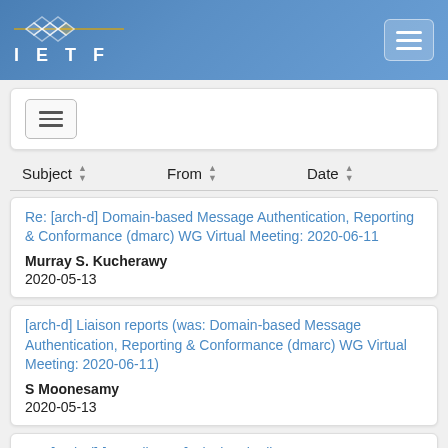[Figure (logo): IETF logo with diamond pattern graphic and text 'I E T F' in white on blue gradient navigation bar with hamburger menu button]
[Figure (other): Filter/menu button card with hamburger icon]
| Subject | From | Date |
| --- | --- | --- |
Re: [arch-d] Domain-based Message Authentication, Reporting & Conformance (dmarc) WG Virtual Meeting: 2020-06-11 | Murray S. Kucherawy | 2020-05-13
[arch-d] Liaison reports (was: Domain-based Message Authentication, Reporting & Conformance (dmarc) WG Virtual Meeting: 2020-06-11) | S Moonesamy | 2020-05-13
Re: [arch-d] [I18n-discuss] Closing the list | Pete Resnick